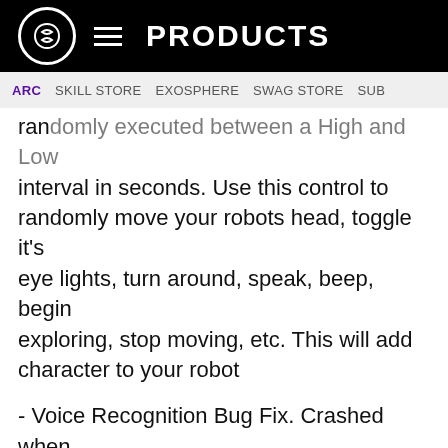S  ≡  PRODUCTS
ARC  SKILL STORE  EXOSPHERE  SWAG STORE  SUB
randomly executed between a High and Low interval in seconds. Use this control to randomly move your robots head, toggle it's eye lights, turn around, speak, beep, begin exploring, stop moving, etc. This will add character to your robot
- Voice Recognition Bug Fix. Crashed when two or more script commands were overlapped
- Joystick Enhancement: Speed of joystick response has been increased